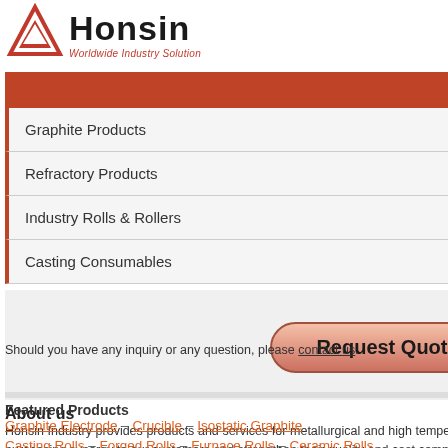[Figure (logo): Honsin Worldwide Industry Solution logo with red triangle/arrow symbol and company name]
Graphite Products
Refractory Products
Industry Rolls & Rollers
Casting Consumables
[Figure (other): Request Quote button - pink/salmon rounded rectangle button]
About us
Honsin Industry provides products and services for metallurgical and high temperature industries. Our objective is to provide the global purchasing synergy to our customers and strengthen their quality and cost competitiveness.
Should you have any inquiry or any question, please contact us.
Featured Products
Graphite Electrode – Crucible – Isostatic Graphite
Casting Rolls – Forged Rolls – Furnace Rolls – Ceramic Rolls